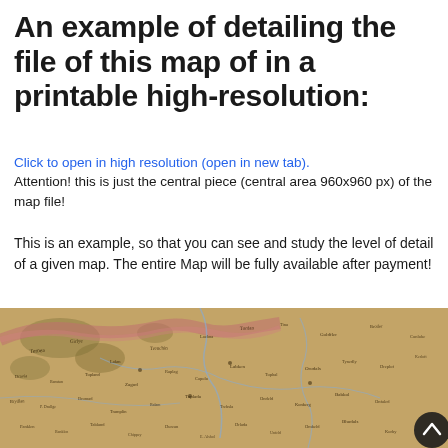An example of detailing the file of this map of in a printable high-resolution:
Click to open in high resolution (open in new tab).
Attention! this is just the central piece (central area 960x960 px) of the map file!
This is an example, so that you can see and study the level of detail of a given map. The entire Map will be fully available after payment!
[Figure (map): A detailed antique-style historical map showing regions with rivers, place names in old script, and terrain features in brown/tan tones with some pink/red highlights]